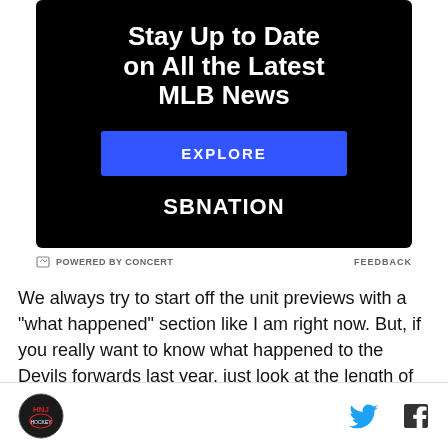[Figure (other): SBNation advertisement banner with black background. Text reads 'Stay Up to Date on All the Latest MLB News', a blue EXPLORE button, and SBNation logo at bottom. Below it shows 'POWERED BY CONCERT' on left and 'FEEDBACK' on right.]
We always try to start off the unit previews with a “what happened” section like I am right now. But, if you really want to know what happened to the Devils forwards last year, just look at the length of the chart above. If
HNJ logo | Twitter icon | Facebook icon